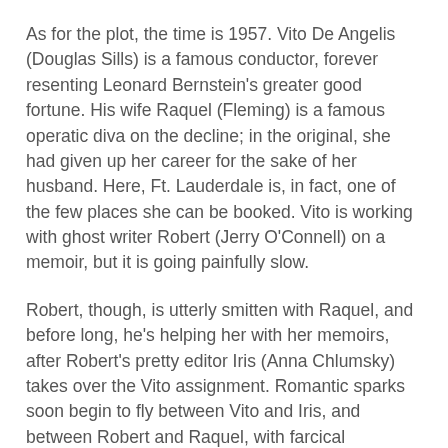As for the plot, the time is 1957. Vito De Angelis (Douglas Sills) is a famous conductor, forever resenting Leonard Bernstein's greater good fortune. His wife Raquel (Fleming) is a famous operatic diva on the decline; in the original, she had given up her career for the sake of her husband. Here, Ft. Lauderdale is, in fact, one of the few places she can be booked. Vito is working with ghost writer Robert (Jerry O'Connell) on a memoir, but it is going painfully slow.
Robert, though, is utterly smitten with Raquel, and before long, he's helping her with her memoirs, after Robert's pretty editor Iris (Anna Chlumsky) takes over the Vito assignment. Romantic sparks soon begin to fly between Vito and Iris, and between Robert and Raquel, with farcical complications.
There are also a pair of “comic” menservants, Bruce (Blake Hammond) and Eric (Scott Robertson), who are slavishly devoted to the De Angelis household.
The single most enjoyable sequence of the evening is a delightful interlude (having absolutely nothing to do with the